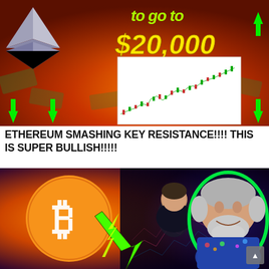[Figure (illustration): Thumbnail image with orange/fire background, Ethereum diamond logo on left, green up arrows, white box with candlestick chart in center-right, yellow text '$20,000' and green text 'to go to' at top]
ETHEREUM SMASHING KEY RESISTANCE!!!! THIS IS SUPER BULLISH!!!!!
[Figure (photo): Thumbnail with Bitcoin orange coin logo on left with green upward arrow, two men (one younger, one older with gray beard) on blue/purple trading chart background, green neon glow outline on the older man]